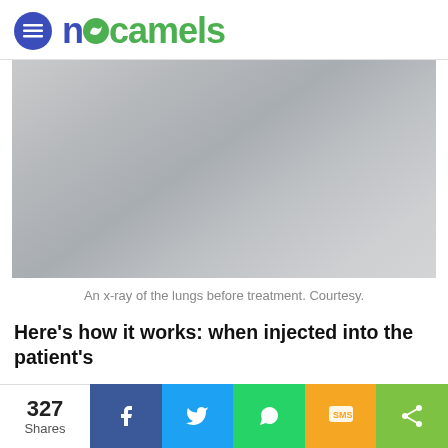nocamels
[Figure (photo): An x-ray image of the lungs before treatment, shown as a grey rectangular image.]
An x-ray of the lungs before treatment. Courtesy.
Here’s how it works: when injected into the patient’s
327 Shares